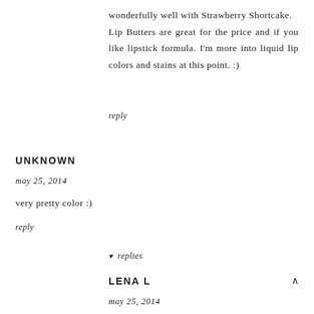wonderfully well with Strawberry Shortcake.
Lip Butters are great for the price and if you like lipstick formula. I'm more into liquid lip colors and stains at this point. :)
reply
UNKNOWN
may 25, 2014
very pretty color :)
reply
▾ replies
LENA L
may 25, 2014